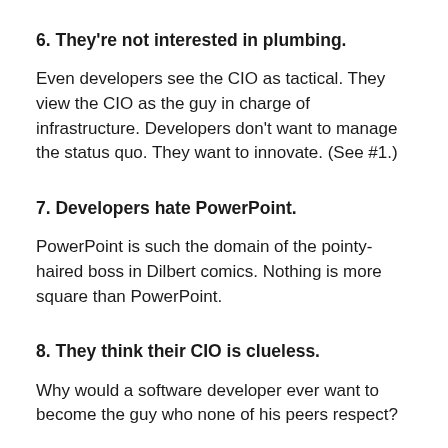6. They're not interested in plumbing.
Even developers see the CIO as tactical. They view the CIO as the guy in charge of infrastructure. Developers don't want to manage the status quo. They want to innovate. (See #1.)
7. Developers hate PowerPoint.
PowerPoint is such the domain of the pointy-haired boss in Dilbert comics. Nothing is more square than PowerPoint.
8. They think their CIO is clueless.
Why would a software developer ever want to become the guy who none of his peers respect?